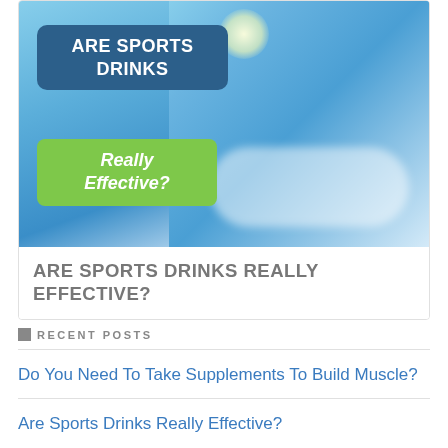[Figure (photo): A cyclist wearing a helmet drinking from a water bottle against a bright blue sky with clouds. Two text overlay boxes: a dark blue rounded rectangle reading 'ARE SPORTS DRINKS' and a green rounded rectangle reading 'Really Effective?']
ARE SPORTS DRINKS REALLY EFFECTIVE?
RECENT POSTS
Do You Need To Take Supplements To Build Muscle?
Are Sports Drinks Really Effective?